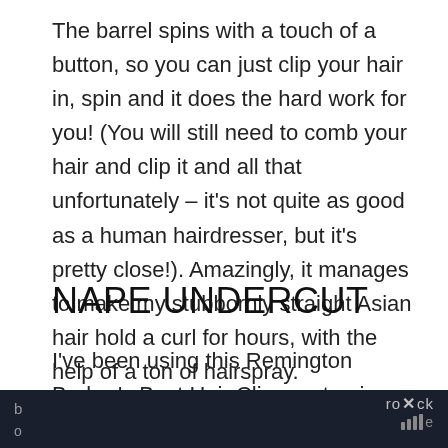The barrel spins with a touch of a button, so you can just clip your hair in, spin and it does the hard work for you! (You will still need to comb your hair and clip it and all that unfortunately – it's not quite as good as a human hairdresser, but it's pretty close!). Amazingly, it manages to make my stubbornly straight Asian hair hold a curl for hours, with the help of a ton of hairspray.
NAPE UNDERCUT
I've been using this Remington Barber's Best Hair Clippers to give the boyfriend haircuts that are b...
b o   ro×ck s𝗺e